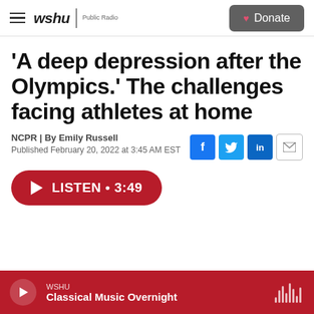wshu | Public Radio — Donate
'A deep depression after the Olympics.' The challenges facing athletes at home
NCPR | By Emily Russell
Published February 20, 2022 at 3:45 AM EST
LISTEN • 3:49
WSHU — Classical Music Overnight